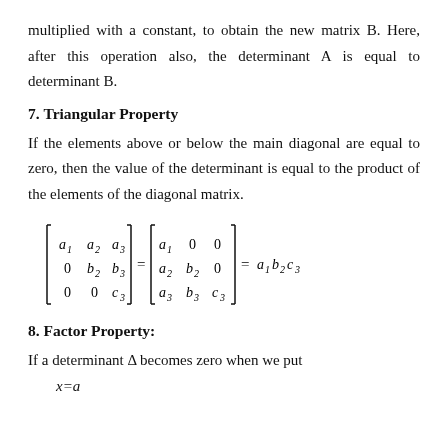multiplied with a constant, to obtain the new matrix B. Here, after this operation also, the determinant A is equal to determinant B.
7. Triangular Property
If the elements above or below the main diagonal are equal to zero, then the value of the determinant is equal to the product of the elements of the diagonal matrix.
8. Factor Property:
If a determinant Δ becomes zero when we put